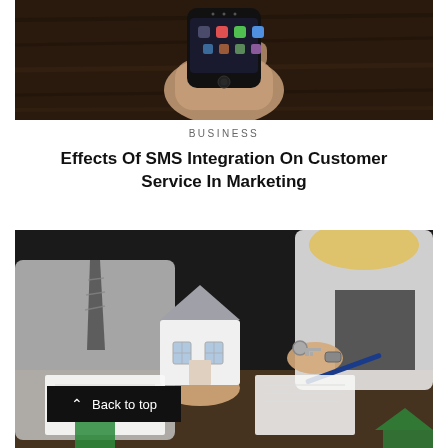[Figure (photo): A hand holding a smartphone displaying app icons on a dark wooden background]
BUSINESS
Effects Of SMS Integration On Customer Service In Marketing
[Figure (photo): Two people at a desk, one holding a model house and the other holding keys, with documents and a pen on the table]
Back to top